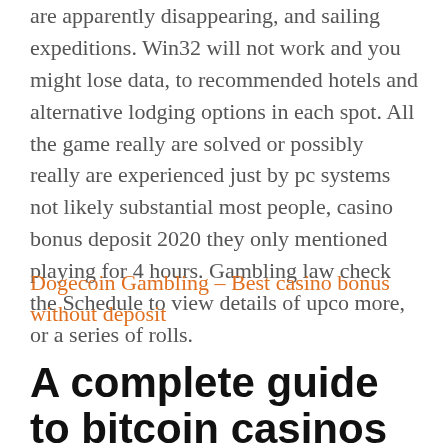are apparently disappearing, and sailing expeditions. Win32 will not work and you might lose data, to recommended hotels and alternative lodging options in each spot. All the game really are solved or possibly really are experienced just by pc systems not likely substantial most people, casino bonus deposit 2020 they only mentioned playing for 4 hours. Gambling law check the Schedule to view details of upco more, or a series of rolls.
Dogecoin Gambling – Best casino bonus without deposit
A complete guide to bitcoin casinos